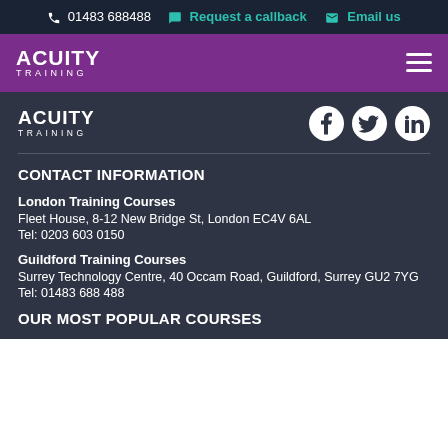📞 01483 688488  💬 Request a callback  ✉ Email us
[Figure (logo): Acuity Training logo in white on purple nav bar with hamburger menu]
[Figure (logo): Acuity Training logo in white on dark background with Facebook, Twitter, LinkedIn social icons]
CONTACT INFORMATION
London Training Courses
Fleet House, 8-12 New Bridge St, London EC4V 6AL
Tel: 0203 603 0150
Guildford Training Courses
Surrey Technology Centre, 40 Occam Road, Guildford, Surrey GU2 7YG
Tel: 01483 688 488
OUR MOST POPULAR COURSES